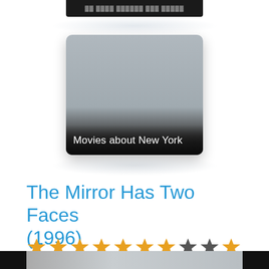[Figure (screenshot): Top cropped dark banner image with light text]
[Figure (screenshot): Movie category card with gray background and label 'Movies about New York' at bottom]
The Mirror Has Two Faces (1996)
[Figure (infographic): Star rating: 7 filled gold stars, 1 dark star, 1 dark star, 1 filled gold star out of 10]
[Figure (screenshot): Bottom cropped movie thumbnail with black bars on sides and gray center]